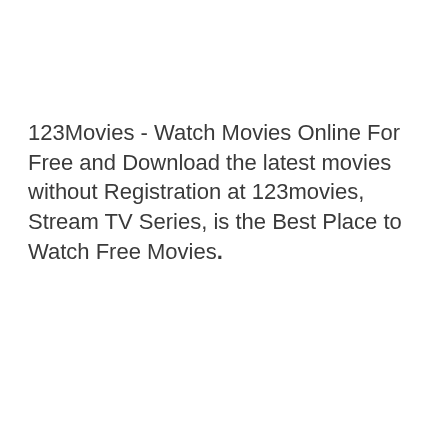123Movies - Watch Movies Online For Free and Download the latest movies without Registration at 123movies, Stream TV Series, is the Best Place to Watch Free Movies.